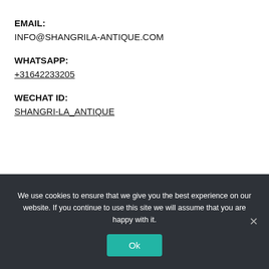EMAIL:
INFO@SHANGRILA-ANTIQUE.COM
WHATSAPP:
+31642233205
WECHAT ID:
SHANGRI-LA_ANTIQUE
We use cookies to ensure that we give you the best experience on our website. If you continue to use this site we will assume that you are happy with it.